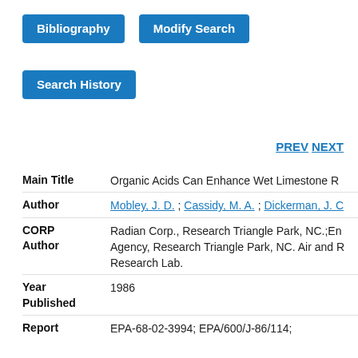Bibliography | Modify Search
Search History
PREV NEXT
| Field | Value |
| --- | --- |
| Main Title | Organic Acids Can Enhance Wet Limestone R |
| Author | Mobley, J. D. ; Cassidy, M. A. ; Dickerman, J. C |
| CORP Author | Radian Corp., Research Triangle Park, NC.;En Agency, Research Triangle Park, NC. Air and R Research Lab. |
| Year Published | 1986 |
| Report | EPA-68-02-3994; EPA/600/J-86/114; |